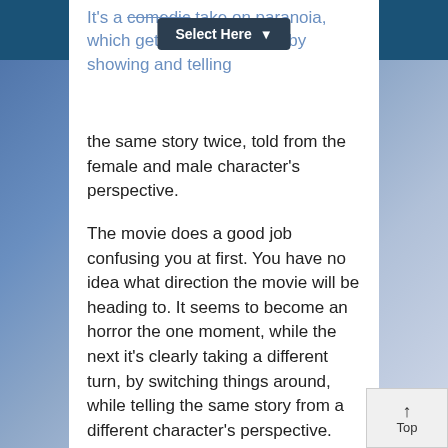It's a comedic take on paranoia, which gets made amusing by showing and telling the same story twice, told from the female and male character's perspective.
The movie does a good job confusing you at first. You have no idea what direction the movie will be heading to. It seems to become an horror the one moment, while the next it's clearly taking a different turn, by switching things around, while telling the same story from a different character's perspective. But yet here also begins the biggest problem I have with this short movie; its ending.
The ending, in my opinion, doesn't live up to the expectations the movie builds up during its first minutes. It was a bit of a let down and...